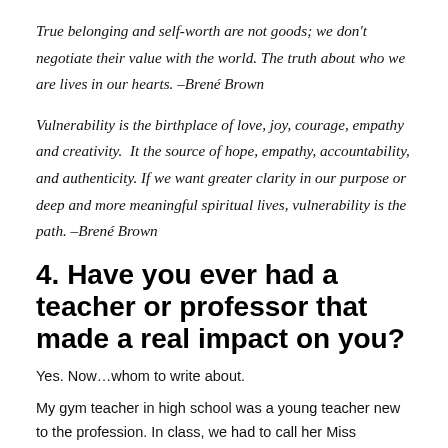True belonging and self-worth are not goods; we don't negotiate their value with the world. The truth about who we are lives in our hearts. –Brené Brown
Vulnerability is the birthplace of love, joy, courage, empathy and creativity.  It the source of hope, empathy, accountability, and authenticity. If we want greater clarity in our purpose or deep and more meaningful spiritual lives, vulnerability is the path. –Brené Brown
4. Have you ever had a teacher or professor that made a real impact on you?
Yes. Now…whom to write about.
My gym teacher in high school was a young teacher new to the profession. In class, we had to call her Miss